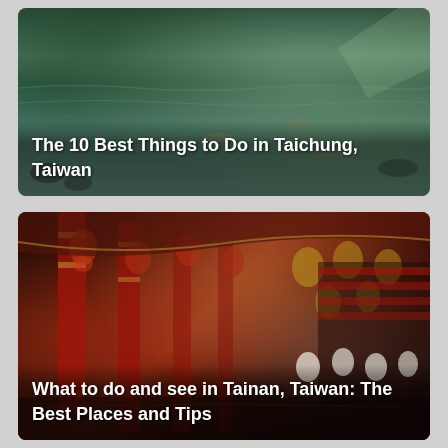[Figure (photo): A serene pond or water garden scene with reflections, rocks and greenery, showing fish in dark water. Text overlay reads: The 10 Best Things to Do in Taichung, Taiwan]
The 10 Best Things to Do in Taichung, Taiwan
[Figure (photo): Interior of a traditional Taiwanese temple with ornate red pillars, golden decorations, hanging red and gold lanterns, and elaborate carved roof details. Text overlay reads: What to do and see in Tainan, Taiwan: The Best Places and Tips]
What to do and see in Tainan, Taiwan: The Best Places and Tips